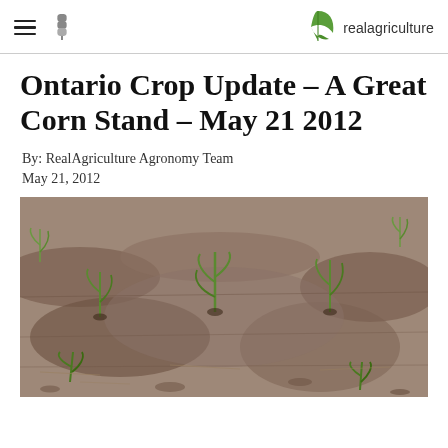realagriculture
Ontario Crop Update – A Great Corn Stand – May 21 2012
By: RealAgriculture Agronomy Team
May 21, 2012
[Figure (photo): Photograph of a corn field showing young corn seedlings emerging from dark reddish-brown soil, viewed from ground level along crop rows]